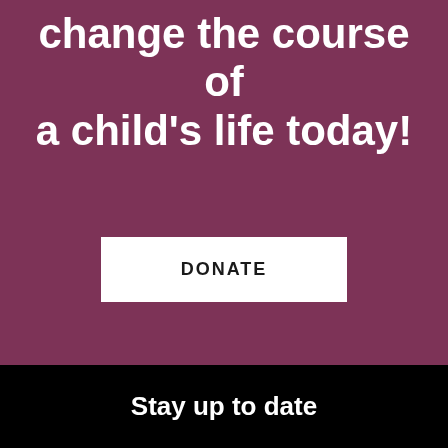change the course of a child’s life today!
DONATE
Stay up to date